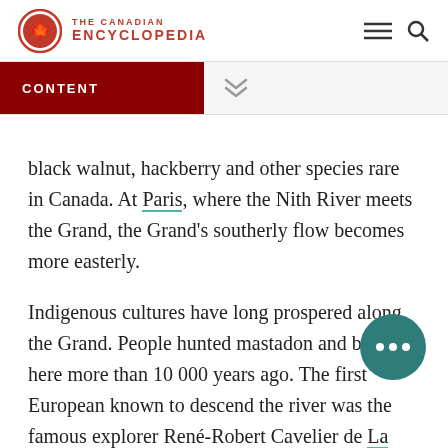THE CANADIAN ENCYCLOPEDIA
CONTENT
black walnut, hackberry and other species rare in Canada. At Paris, where the Nith River meets the Grand, the Grand's southerly flow becomes more easterly.
Indigenous cultures have long prospered along the Grand. People hunted mastadon and bison here more than 10 000 years ago. The first European known to descend the river was the famous explorer René-Robert Cavelier de La Salle in 1669. To the early French settlers, the river was known as Rivière